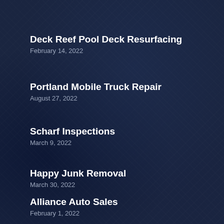Deck Reef Pool Deck Resurfacing
February 14, 2022
Portland Mobile Truck Repair
August 27, 2022
Scharf Inspections
March 9, 2022
Happy Junk Removal
March 30, 2022
Alliance Auto Sales
February 1, 2022